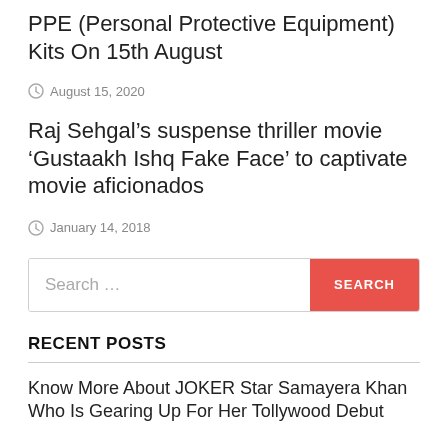PPE (Personal Protective Equipment) Kits On 15th August
August 15, 2020
Raj Sehgal’s suspense thriller movie ‘Gustaakh Ishq Fake Face’ to captivate movie aficionados
January 14, 2018
[Figure (other): Search bar with text input placeholder 'Search ...' and a red SEARCH button]
RECENT POSTS
Know More About JOKER Star Samayera Khan Who Is Gearing Up For Her Tollywood Debut